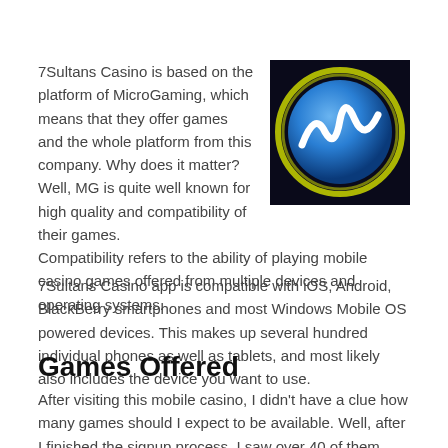7Sultans Casino is based on the platform of MicroGaming, which means that they offer games and the whole platform from this company. Why does it matter? Well, MG is quite well known for high quality and compatibility of their games. Compatibility refers to the ability of playing mobile casino games offered from multiple devices and operating systems.
[Figure (logo): MicroGaming logo: circular blue sphere with a stylized white M/wave symbol, surrounded by a glowing yellow-green ring on a dark background]
7Sultans Casino app is compatible with iOS, Android, BlackBerry smartphones and most Windows Mobile OS powered devices. This makes up several hundred individual phones as well as tablets, and most likely also includes the device you want to use.
Games Offered
After visiting this mobile casino, I didn't have a clue how many games should I expect to be available. Well, after I finished the signup process, I saw over 40 of them being available. This is quite standard for MicroGaming or QuickFire powered casinos.